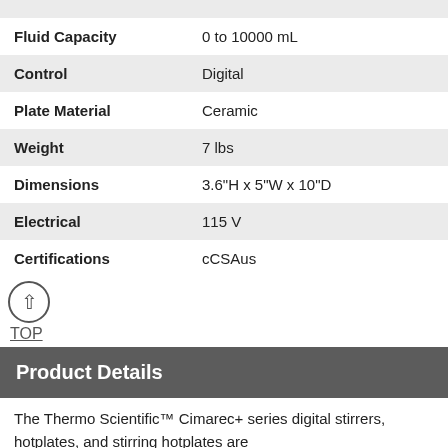| Attribute | Value |
| --- | --- |
| Fluid Capacity | 0 to 10000 mL |
| Control | Digital |
| Plate Material | Ceramic |
| Weight | 7 lbs |
| Dimensions | 3.6"H x 5"W x 10"D |
| Electrical | 115 V |
| Certifications | cCSAus |
TOP
Product Details
The Thermo Scientific™ Cimarec+ series digital stirrers, hotplates, and stirring hotplates are